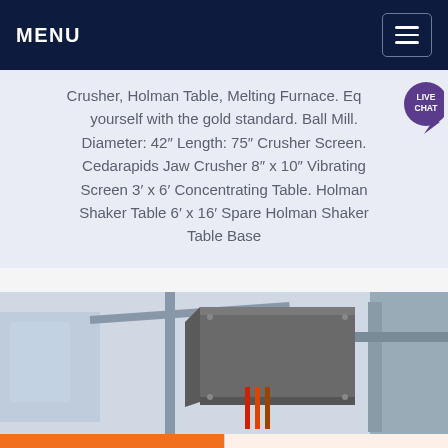MENU
Crusher, Holman Table, Melting Furnace. Equip yourself with the gold standard. Ball Mill. Diameter: 42″ Length: 75″ Crusher Screen. Cedarapids Jaw Crusher 8″ x 10″ Vibrating Screen 3′ x 6′ Concentrating Table. Holman Shaker Table 6′ x 16′ Spare Holman Shaker Table Base
[Figure (photo): Industrial mining/crushing machine equipment photo showing a large grey metal machine body mounted on poles with cables, viewed from below at an angle.]
Get a Quote
WhatsApp